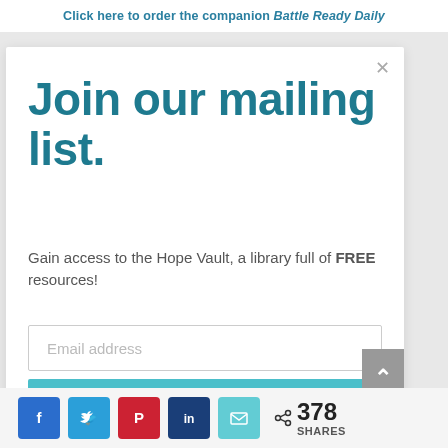Click here to order the companion Battle Ready Daily
Join our mailing list.
Gain access to the Hope Vault, a library full of FREE resources!
Email address
JOIN TODAY!
378 SHARES